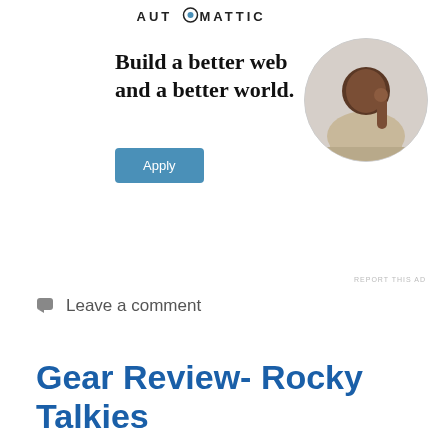[Figure (logo): Automattic logo — uppercase text with a stylized 'O' containing a circular icon]
[Figure (infographic): Automattic job ad: bold serif text 'Build a better web and a better world.' with a teal Apply button and a circular photo of a Black man resting his chin on his hand, sitting at a desk]
REPORT THIS AD
Leave a comment
Gear Review- Rocky Talkies